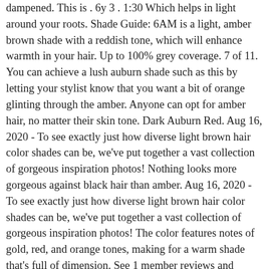dampened. This is . 6y 3 . 1:30 Which helps in light around your roots. Shade Guide: 6AM is a light, amber brown shade with a reddish tone, which will enhance warmth in your hair. Up to 100% grey coverage. 7 of 11. You can achieve a lush auburn shade such as this by letting your stylist know that you want a bit of orange glinting through the amber. Anyone can opt for amber hair, no matter their skin tone. Dark Auburn Red. Aug 16, 2020 - To see exactly just how diverse light brown hair color shades can be, we've put together a vast collection of gorgeous inspiration photos! Nothing looks more gorgeous against black hair than amber. Aug 16, 2020 - To see exactly just how diverse light brown hair color shades can be, we've put together a vast collection of gorgeous inspiration photos! The color features notes of gold, red, and orange tones, making for a warm shade that's full of dimension. See 1 member reviews and photos. Fiery reds and deep burgundy hues can be reco… This one is like a mix of caramel and cream. Medium auburn hair color is a combination of medium golden red and medium brown. Amber blonde hair will flatter any girl that has pale skin and wants to adopt a gorgeous retro look. Nov 17, 2019 - Shades of red hair are the most luminous and bright! If you love of red, bold brown, or even dark hair colors…